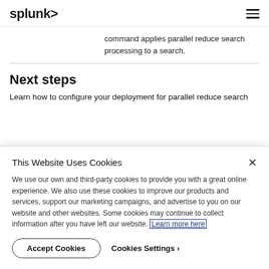splunk>
command applies parallel reduce search processing to a search.
Next steps
Learn how to configure your deployment for parallel reduce search
This Website Uses Cookies
We use our own and third-party cookies to provide you with a great online experience. We also use these cookies to improve our products and services, support our marketing campaigns, and advertise to you on our website and other websites. Some cookies may continue to collect information after you have left our website. Learn more here
Accept Cookies
Cookies Settings ›